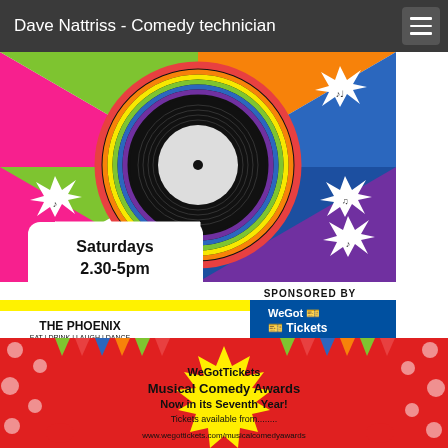Dave Nattriss - Comedy technician
[Figure (illustration): Colorful comic-style musical comedy poster with a vinyl record in the center reading 'Musical Comedy'. Various colored sections (pink, green, blue, purple, orange). Speech bubble says 'Saturdays 2.30-5pm'. Bottom strip reads 'SELL OUT SHOW 2009 · 2014' and 'SPONSORED BY WeGotTickets www.WeGotTickets.com'. Logo for 'The Phoenix' with tagline 'EAT | DRINK | LAUGH | DANCE'.]
[Figure (illustration): Colorful illustration with red polka-dot border and yellow starburst background with bunting. Text reads: 'WeGotTickets Musical Comedy Awards Now in its Seventh Year! Tickets available from........ www.wegottickets.com/musicalcomedyawards']